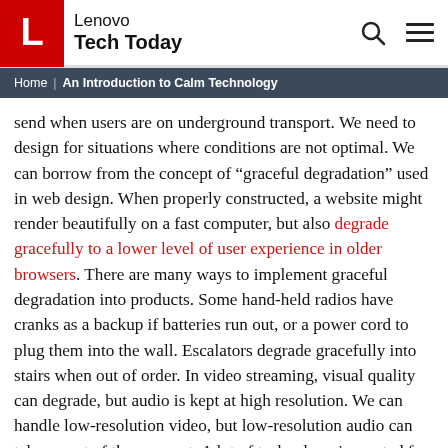Lenovo Tech Today
Home | An Introduction to Calm Technology
send when users are on underground transport. We need to design for situations where conditions are not optimal. We can borrow from the concept of “graceful degradation” used in web design. When properly constructed, a website might render beautifully on a fast computer, but also degrade gracefully to a lower level of user experience in older browsers. There are many ways to implement graceful degradation into products. Some hand-held radios have cranks as a backup if batteries run out, or a power cord to plug them into the wall. Escalators degrade gracefully into stairs when out of order. In video streaming, visual quality can degrade, but audio is kept at high resolution. We can handle low-resolution video, but low-resolution audio can take us out of the moment. A lot of technology is created for optimum situations, not older